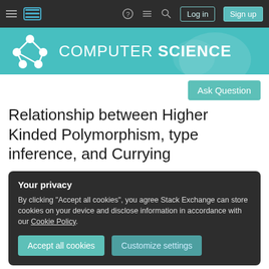Computer Science Stack Exchange navigation bar with hamburger menu, logo, help, chat, search icons, Log in and Sign up buttons
[Figure (screenshot): Computer Science Stack Exchange site header banner with network graph logo and site name]
Ask Question
Relationship between Higher Kinded Polymorphism, type inference, and Currying
Your privacy
By clicking "Accept all cookies", you agree Stack Exchange can store cookies on your device and disclose information in accordance with our Cookie Policy.
Accept all cookies   Customize settings
responding to a comment about the usage of async-